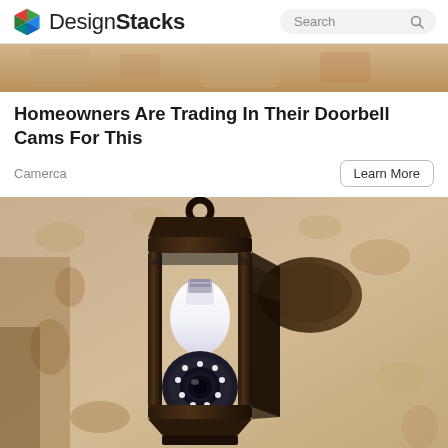DesignStacks
[Figure (photo): Top partial photo showing warm beige/sandy textured surface]
Homeowners Are Trading In Their Doorbell Cams For This
Camerca
Learn More
[Figure (photo): Outdoor lantern-style wall light fixture with a security camera bulb insert, mounted on a textured stucco wall. The bulb has a visible camera lens and LED ring at the bottom.]